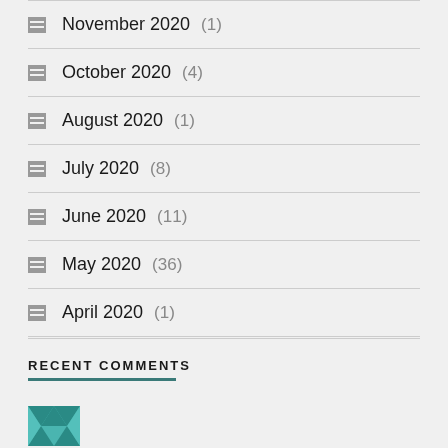November 2020 (1)
October 2020 (4)
August 2020 (1)
July 2020 (8)
June 2020 (11)
May 2020 (36)
April 2020 (1)
RECENT COMMENTS
[Figure (logo): Small teal/turquoise triangular logo icon]